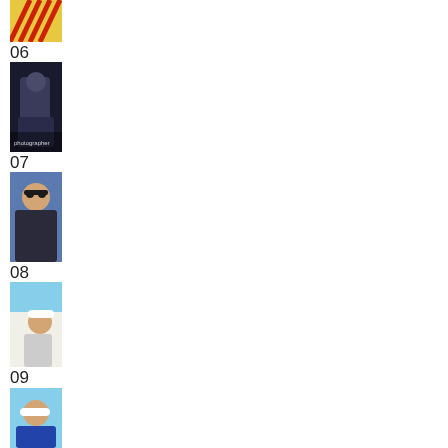[Figure (photo): Thumbnail photo 06 - angled red lines/rails on yellow background]
06
[Figure (photo): Thumbnail photo 07 - person in dark clothing holding something]
07
[Figure (photo): Thumbnail photo 08 - person with sunglasses outdoors]
08
[Figure (photo): Thumbnail photo 09 - child in white shirt and cap]
09
[Figure (photo): Thumbnail photo 10 - person in cap, sky background]
10
[Figure (photo): Thumbnail photo 11 - striped structure with figure]
11
[Figure (photo): Thumbnail photo 12 - partial, dark image at bottom]